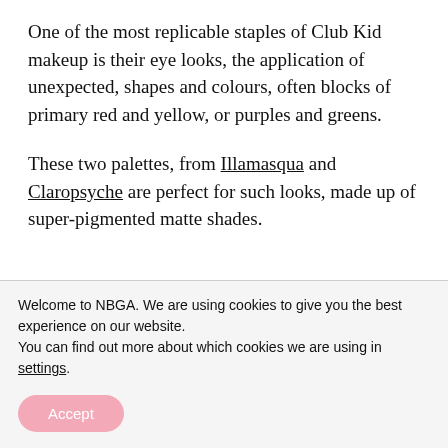One of the most replicable staples of Club Kid makeup is their eye looks, the application of unexpected, shapes and colours, often blocks of primary red and yellow, or purples and greens.
These two palettes, from Illamasqua and Claropsyche are perfect for such looks, made up of super-pigmented matte shades.
by Emily Blundell Owers
Welcome to NBGA. We are using cookies to give you the best experience on our website.
You can find out more about which cookies we are using in settings.